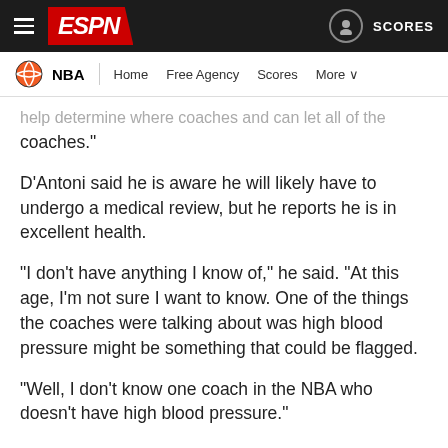ESPN NBA navigation header
help determine where coaches and can let all of the coaches.
D'Antoni said he is aware he will likely have to undergo a medical review, but he reports he is in excellent health.
"I don't have anything I know of," he said. "At this age, I'm not sure I want to know. One of the things the coaches were talking about was high blood pressure might be something that could be flagged.
"Well, I don't know one coach in the NBA who doesn't have high blood pressure."
[Figure (infographic): Social sharing icons: Facebook, Twitter, Messenger, WhatsApp, Email]